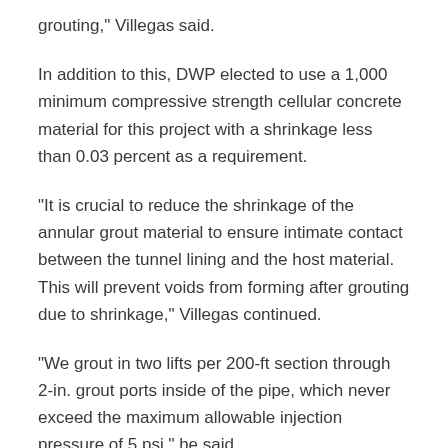grouting," Villegas said.
In addition to this, DWP elected to use a 1,000 minimum compressive strength cellular concrete material for this project with a shrinkage less than 0.03 percent as a requirement.
“It is crucial to reduce the shrinkage of the annular grout material to ensure intimate contact between the tunnel lining and the host material. This will prevent voids from forming after grouting due to shrinkage,” Villegas continued.
“We grout in two lifts per 200-ft section through 2-in. grout ports inside of the pipe, which never exceed the maximum allowable injection pressure of 5 psi,” he said.
“As an added benefit, due to the very minimal shrinkage in cellular concrete there was no need to go back through the pipe and contact grout after the cellular concrete material